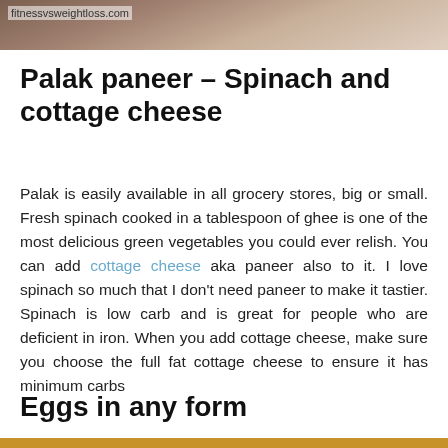[Figure (photo): Top portion of a food photo with fitnesvsweightloss.com watermark overlay]
Palak paneer – Spinach and cottage cheese
Palak is easily available in all grocery stores, big or small. Fresh spinach cooked in a tablespoon of ghee is one of the most delicious green vegetables you could ever relish. You can add cottage cheese aka paneer also to it. I love spinach so much that I don't need paneer to make it tastier. Spinach is low carb and is great for people who are deficient in iron. When you add cottage cheese, make sure you choose the full fat cottage cheese to ensure it has minimum carbs
Eggs in any form
[Figure (photo): Partial food photo visible at bottom of page with orange/brown strip border]